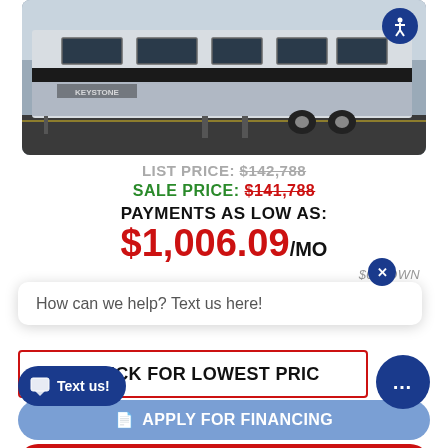[Figure (photo): Photo of a large RV/fifth-wheel trailer (Keystone brand) parked in a lot, front/side view showing white and black exterior with slide-outs]
LIST PRICE: $142,788
SALE PRICE: $141,788
PAYMENTS AS LOW AS:
$1,006.09/MO
$0 DOWN
How can we help? Text us here!
CLICK FOR LOWEST PRICE
Text us!
APPLY FOR FINANCING